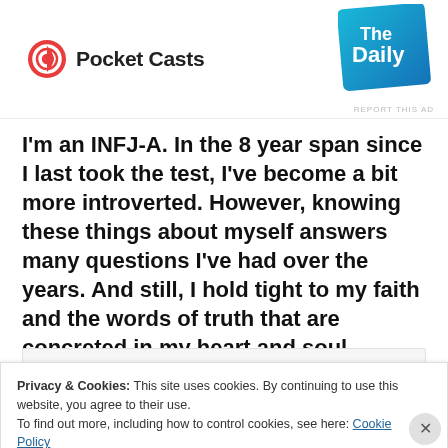[Figure (logo): Pocket Casts logo with red circular icon and text 'Pocket Casts']
[Figure (illustration): The Daily podcast badge - teal/blue diagonal card with white text 'The Daily']
I'm an INFJ-A. In the 8 year span since I last took the test, I've become a bit more introverted. However, knowing these things about myself answers many questions I've had over the years. And still, I hold tight to my faith and the words of truth that are concreted in my heart and soul.
“Don’t copy the behavior and customs of
Privacy & Cookies: This site uses cookies. By continuing to use this website, you agree to their use.
To find out more, including how to control cookies, see here: Cookie Policy
Close and accept